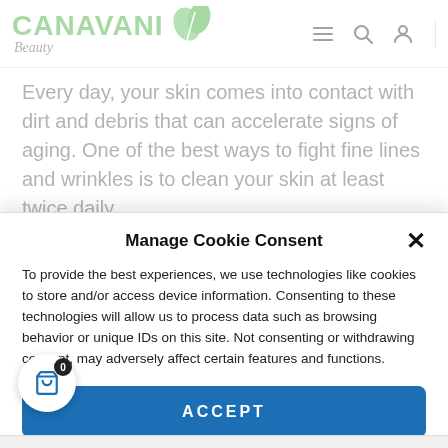CANAVANI Beauty — navigation header with menu, search, and account icons
Every day, your skin comes into contact with dirt and debris that can accelerate signs of aging. One of the best ways to fight fine lines and wrinkles is to clean your skin at least twice daily.
Manage Cookie Consent
To provide the best experiences, we use technologies like cookies to store and/or access device information. Consenting to these technologies will allow us to process data such as browsing behavior or unique IDs on this site. Not consenting or withdrawing consent, may adversely affect certain features and functions.
ACCEPT
Cookie Policy  Policies